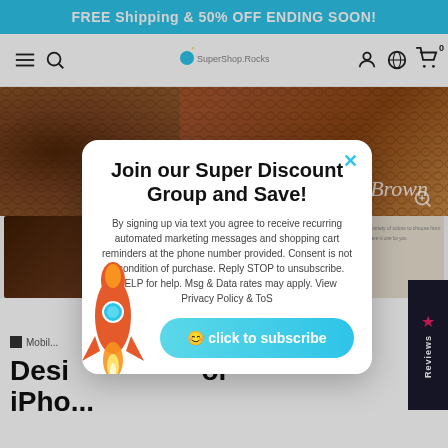FREE Shipping & 50% OFF ENDING SOON!
[Figure (screenshot): Website navigation bar with hamburger menu, search icon, SuperShop.Rocks logo, account, globe, and cart icons]
[Figure (photo): Close-up product photo of brown snake/croc leather phone case with 'Brown' text label and zoom icon]
[Figure (photo): Row of 5 product thumbnail images showing different phone case colors/styles]
Mobile
Desi  or iPhone
[Figure (screenshot): Modal popup - Join our Super Discount Group and Save! with rocket illustration and subscribe button]
Join our Super Discount Group and Save!
By signing up via text you agree to receive recurring automated marketing messages and shopping cart reminders at the phone number provided. Consent is not a condition of purchase. Reply STOP to unsubscribe. HELP for help. Msg & Data rates may apply. View Privacy Policy & ToS
click to subscribe
Reviews